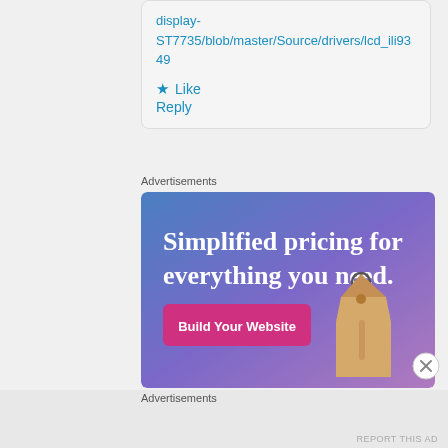display-ST7735/blob/master/Source/drivers/lcd_ili9349
★ Like
Reply
Advertisements
[Figure (illustration): Advertisement banner with gradient blue-purple background, large white text reading 'Simplified pricing for everything you need.', a pink button labeled 'Build Your Website', and a 3D price tag illustration on the right.]
Advertisements